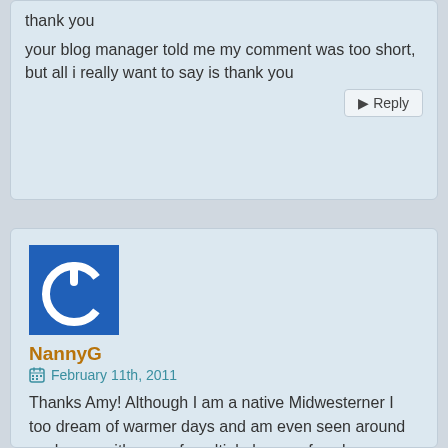thank you
your blog manager told me my comment was too short, but all i really want to say is thank you
Reply
[Figure (illustration): Blue square avatar icon with a white power button symbol (circle with a gap at the top and a vertical line)]
NannyG
February 11th, 2011
Thanks Amy! Although I am a native Midwesterner I too dream of warmer days and am even seen around my house with a scarf, multiple layers of socks, a blanket, and a hat. I appreciated your description of the layering habit we also partake in as we humans seek to be known and yet fear shame and rejection. I especially relate to the desire to be authentic, yet the balance of sharing what is sacred. Here's a 'cheers' of a cuppa to good friends and a